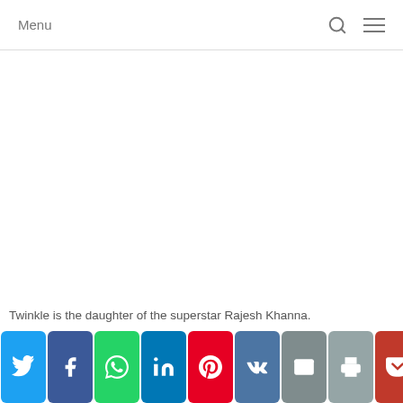Menu
Twinkle is the daughter of the superstar Rajesh Khanna.
[Figure (infographic): Social sharing button bar with icons for Twitter, Facebook, WhatsApp, LinkedIn, Pinterest, VK, Email, Print, and Pocket]